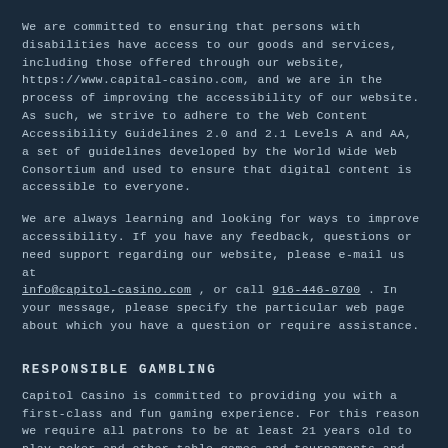We are committed to ensuring that persons with disabilities have access to our goods and services, including those offered through our website, https://www.capital-casino.com, and we are in the process of improving the accessibility of our website. As such, we strive to adhere to the Web Content Accessibility Guidelines 2.0 and 2.1 Levels A and AA, a set of guidelines developed by the World Wide Web Consortium and used to ensure that digital content is accessible to everyone.
We are always learning and looking for ways to improve accessibility. If you have any feedback, questions or need support regarding our website, please e-mail us at info@capitol-casino.com , or call 916-446-0700 . In your message, please specify the particular web page about which you have a question or require assistance.
RESPONSIBLE GAMBLING
Capitol Casino is committed to providing you with a first-class and fun gaming experience. For this reason we require all patrons to be at least 21 years old to play poker and other table games and tournaments and to enter the facility, unless